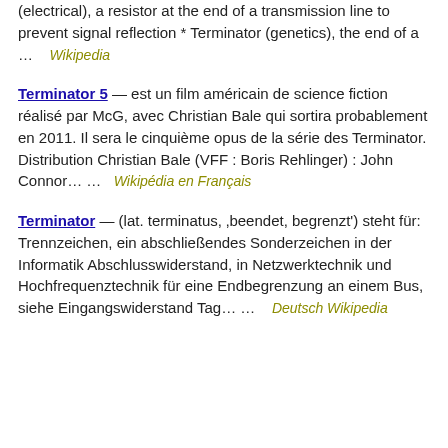(electrical), a resistor at the end of a transmission line to prevent signal reflection * Terminator (genetics), the end of a … Wikipedia
Terminator 5 — est un film américain de science fiction réalisé par McG, avec Christian Bale qui sortira probablement en 2011. Il sera le cinquième opus de la série des Terminator. Distribution Christian Bale (VFF : Boris Rehlinger) : John Connor… … Wikipédia en Français
Terminator — (lat. terminatus, 'beendet, begrenzt') steht für: Trennzeichen, ein abschließendes Sonderzeichen in der Informatik Abschlusswiderstand, in Netzwerktechnik und Hochfrequenztechnik für eine Endbegrenzung an einem Bus, siehe Eingangswiderstand Tag… … Deutsch Wikipedia